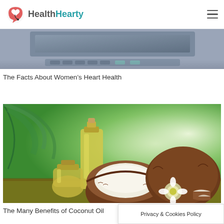HealthHearty
[Figure (photo): Partial view of a device with keyboard/screen, cropped at top of page]
The Facts About Women’s Heart Health
[Figure (photo): Coconut oil in glass bottles next to cracked open coconuts with palm fronds in background, on wooden surface]
The Many Benefits of Coconut Oil
Privacy & Cookies Policy